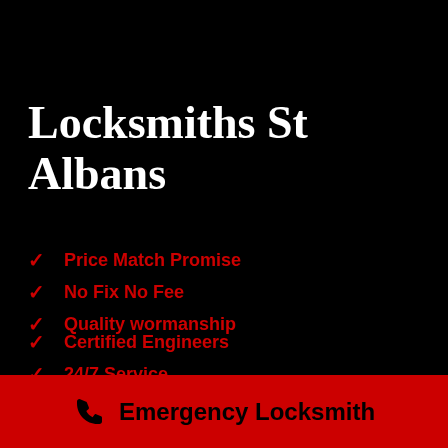Locksmiths St Albans
Price Match Promise
No Fix No Fee
Quality wormanship
Certified Engineers
24/7 Service
Fully Insured Service
Emergency Locksmith